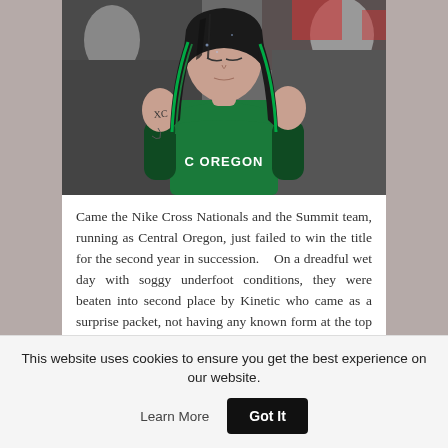[Figure (photo): A young woman with wet dark hair with green highlights, wearing a green 'C Oregon' running singlet, looking downward. She has writing on her arm. She appears to be a cross country runner after a race in wet conditions. A crowd is visible in the background.]
Came the Nike Cross Nationals and the Summit team, running as Central Oregon, just failed to win the title for the second year in succession.   On a dreadful wet day with soggy underfoot conditions, they were beaten into second place by Kinetic who came as a surprise packet, not having any known form at the top level before the event.   They were
This website uses cookies to ensure you get the best experience on our website.